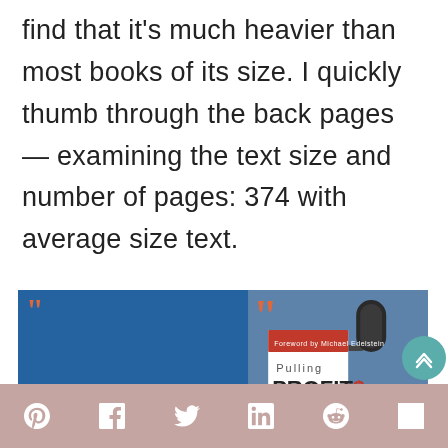find that it's much heavier than most books of its size. I quickly thumb through the back pages — examining the text size and number of pages: 374 with average size text.
[Figure (photo): Composite image with a blue left panel showing a large opening quote mark and text quote beginning 'Pulling Profits Out of a Hat shows why it's so important to look at the small stuff that business', and a right panel showing a photo of a microphone and the book 'Pulling PROFIT$' with red top band.]
Social share icons: Pinterest, Facebook, Twitter, LinkedIn, Reddit, Mix